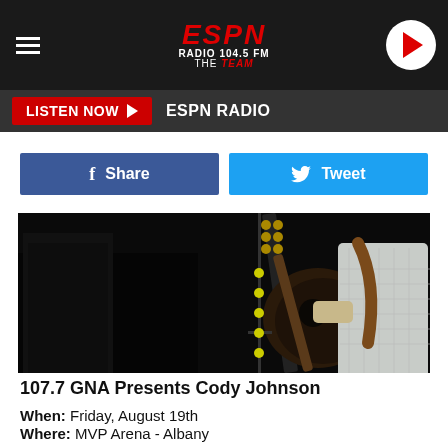ESPN RADIO 104.5 FM THE TEAM
LISTEN NOW   ESPN RADIO
Share   Tweet
[Figure (photo): Person playing acoustic guitar on stage against dark background]
107.7 GNA Presents Cody Johnson
When: Friday, August 19th
Where: MVP Arena - Albany
Buy Tickets